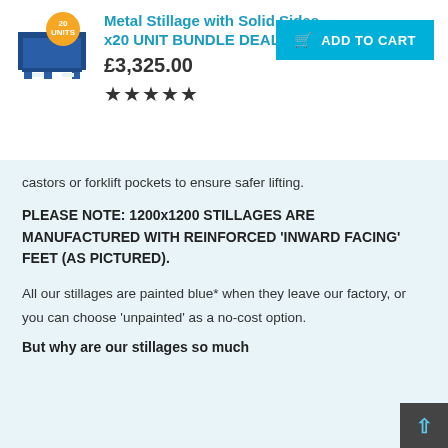Metal Stillage with Solid Sides - x20 UNIT BUNDLE DEAL
£3,325.00
★★★★★
castors or forklift pockets to ensure safer lifting.
PLEASE NOTE: 1200x1200 STILLAGES ARE MANUFACTURED WITH REINFORCED 'INWARD FACING' FEET (AS PICTURED).
All our stillages are painted blue* when they leave our factory, or you can choose 'unpainted' as a no-cost option.
But why are our stillages so much